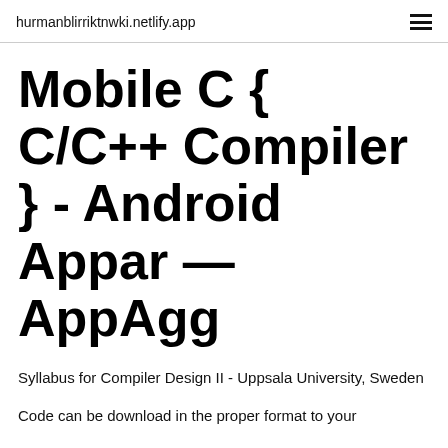hurmanblirriktnwki.netlify.app
Mobile C { C/C++ Compiler } - Android Appar — AppAgg
Syllabus for Compiler Design II - Uppsala University, Sweden
Code can be download in the proper format to your